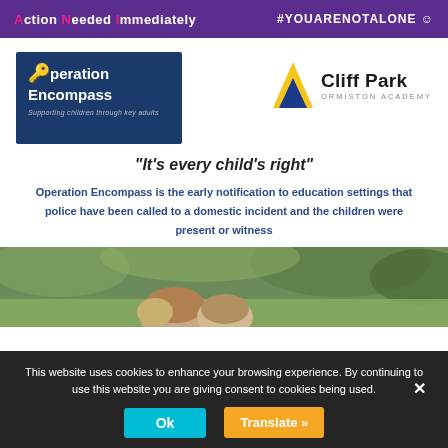Action Needed Immediately  #YOUARENOTALONE
[Figure (logo): Operation Encompass logo — dark blue box with key icon, text 'Operation Encompass', subtitle 'Supporting children through key adults']
[Figure (logo): Cliff Park Ormiston Academy logo — yellow/navy triangle and text]
“It’s every child’s right”
Operation Encompass is the early notification to education settings that police have been called to a domestic incident and the children were present or witness
[Figure (photo): Photo of a child lying in grass, viewed from behind]
This website uses cookies to enhance your browsing experience. By continuing to use this website you are giving consent to cookies being used.